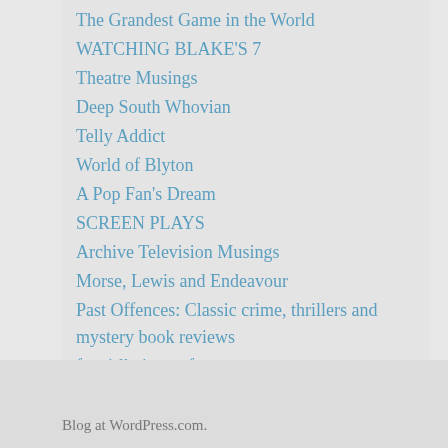The Grandest Game in the World
WATCHING BLAKE'S 7
Theatre Musings
Deep South Whovian
Telly Addict
World of Blyton
A Pop Fan's Dream
SCREEN PLAYS
Archive Television Musings
Morse, Lewis and Endeavour
Past Offences: Classic crime, thrillers and mystery book reviews
fangirlknitsscarf
whopix.wordpress.com/
downthetubes.net
Forgotten Television Drama
Blog at WordPress.com.